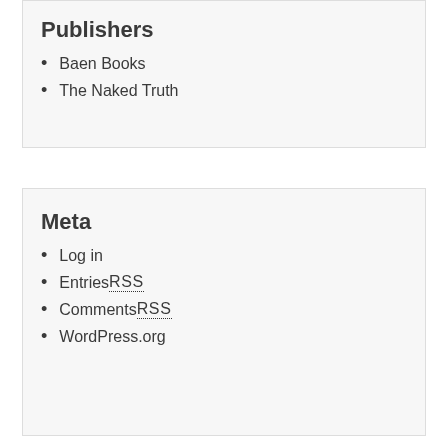Publishers
Baen Books
The Naked Truth
Meta
Log in
Entries RSS
Comments RSS
WordPress.org